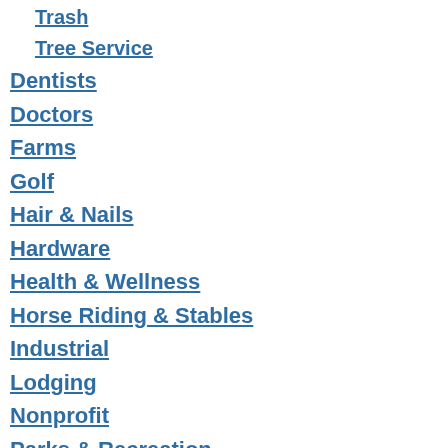Trash
Tree Service
Dentists
Doctors
Farms
Golf
Hair & Nails
Hardware
Health & Wellness
Horse Riding & Stables
Industrial
Lodging
Nonprofit
Parks & Recreation
Pets & Supplies
Post Offices (USPS)
Professional Services
Finance
Insurance
Marketing & Communications
Real Estate Agents
Restaurants
Catering & Events